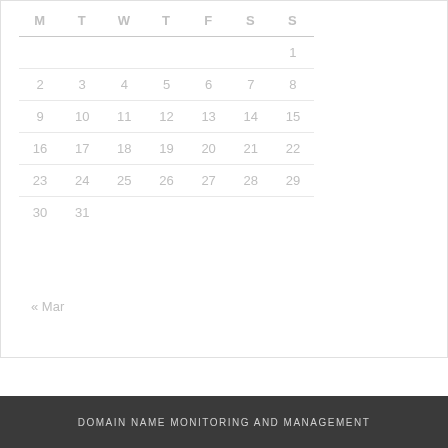| M | T | W | T | F | S | S |
| --- | --- | --- | --- | --- | --- | --- |
|  |  |  |  |  |  | 1 |
| 2 | 3 | 4 | 5 | 6 | 7 | 8 |
| 9 | 10 | 11 | 12 | 13 | 14 | 15 |
| 16 | 17 | 18 | 19 | 20 | 21 | 22 |
| 23 | 24 | 25 | 26 | 27 | 28 | 29 |
| 30 | 31 |  |  |  |  |  |
« Mar
DOMAIN NAME MONITORING AND MANAGEMENT